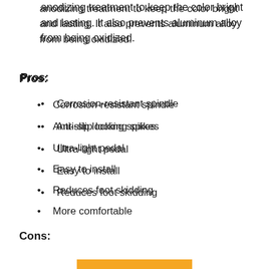anodizing treatment to keep the color bright and lasting. It also prevents aluminum alloy from being oxidized.
Pros:
Corrosion-resistant spindle
Anti-slip locking spikes
Ultra-light pedal
Easy to install
Reduces foot skidding
More comfortable
Cons:
Not as durable as advertised